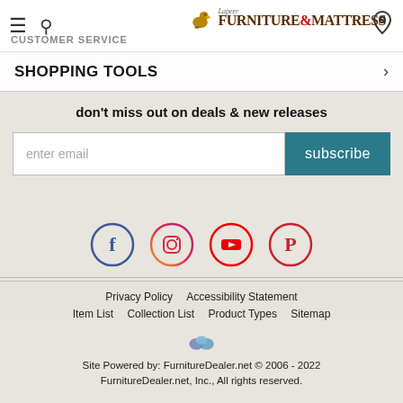CUSTOMER SERVICE
SHOPPING TOOLS
don't miss out on deals & new releases
enter email  subscribe
[Figure (illustration): Social media icons: Facebook, Instagram, YouTube, Pinterest]
Privacy Policy   Accessibility Statement   Item List   Collection List   Product Types   Sitemap
[Figure (logo): FurnitureDealer.net logo icon]
Site Powered by: FurnitureDealer.net © 2006 - 2022 FurnitureDealer.net, Inc., All rights reserved.